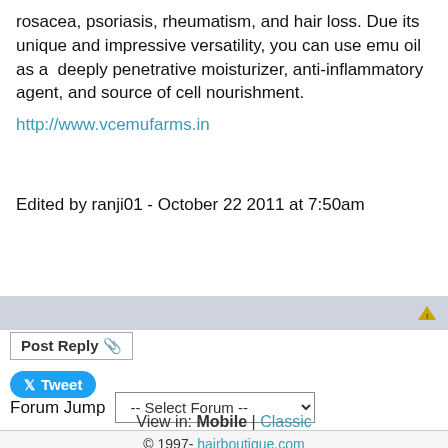rosacea, psoriasis, rheumatism, and hair loss. Due its unique and impressive versatility, you can use emu oil as a  deeply penetrative moisturizer, anti-inflammatory agent, and source of cell nourishment.
http://www.vcemufarms.in
Edited by ranji01 - October 22 2011 at 7:50am
Post Reply
Tweet
Forum Jump  -- Select Forum --
View in: Mobile | Classic
© 1997- hairboutique.com